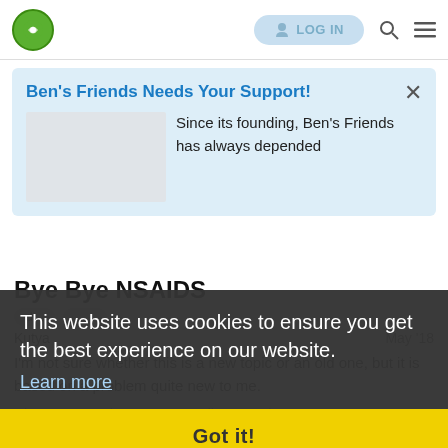Ben's Friends logo | LOG IN | search | menu
Ben's Friends Needs Your Support!
Since its founding, Ben's Friends has always depended
Bye Bye NSAIDS
Kutya   May '18
This website uses cookies to ensure you get the best experience on our website.
Learn more
Got it!
I'm not sure whether this is a new topic or an old one, but it is based on a problem quite new to me.
Six or so months ago, I was diagnosed w
1 / 18